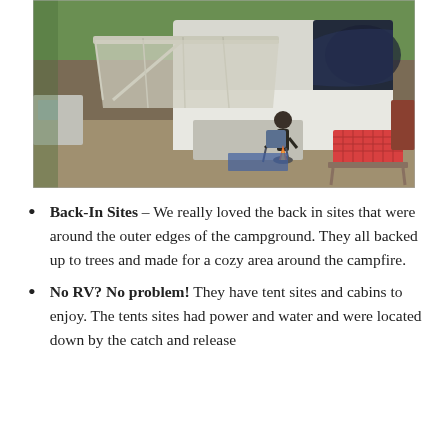[Figure (photo): Outdoor campground scene with a large fifth-wheel RV with awning extended, a person sitting in a camp chair by a small fire, a picnic table with red checkered tablecloth, gravel campsite, trees in background.]
Back-In Sites – We really loved the back in sites that were around the outer edges of the campground. They all backed up to trees and made for a cozy area around the campfire.
No RV? No problem! They have tent sites and cabins to enjoy. The tents sites had power and water and were located down by the catch and release